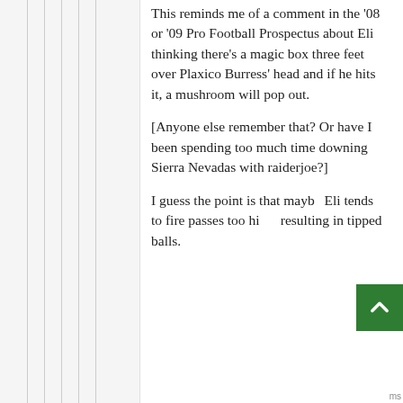This reminds me of a comment in the '08 or '09 Pro Football Prospectus about Eli thinking there's a magic box three feet over Plaxico Burress' head and if he hits it, a mushroom will pop out.
[Anyone else remember that? Or have I been spending too much time downing Sierra Nevadas with raiderjoe?]
I guess the point is that maybe Eli tends to fire passes too high, resulting in tipped balls.